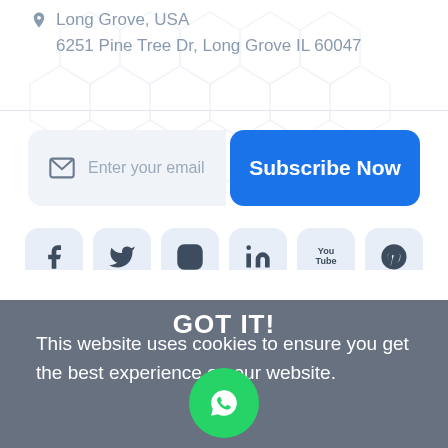📍 Long Grove, USA
6251 Pine Tree Dr, Long Grove IL 60047
Enter your email
Subscribe Now
[Figure (illustration): Social media icons row: Facebook, Twitter, Instagram, LinkedIn, YouTube, Pinterest]
This website uses cookies to ensure you get the best experience on our website.
GOT IT!
[Figure (illustration): WhatsApp floating button (green circle with WhatsApp logo)]